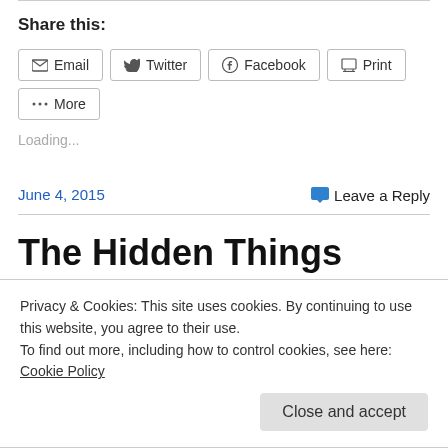Share this:
Email
Twitter
Facebook
Print
More
Loading...
June 4, 2015
Leave a Reply
The Hidden Things
Privacy & Cookies: This site uses cookies. By continuing to use this website, you agree to their use.
To find out more, including how to control cookies, see here: Cookie Policy